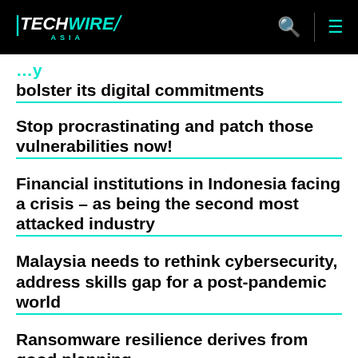TechWire Asia
bolster its digital commitments
Stop procrastinating and patch those vulnerabilities now!
Financial institutions in Indonesia facing a crisis – as being the second most attacked industry
Malaysia needs to rethink cybersecurity, address skills gap for a post-pandemic world
Ransomware resilience derives from good planning